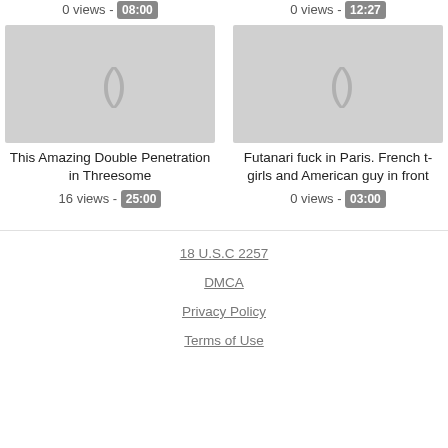0 views - 08:00
0 views - 12:27
[Figure (other): Video thumbnail placeholder with parenthesis icon, grey background]
This Amazing Double Penetration in Threesome
16 views - 25:00
[Figure (other): Video thumbnail placeholder with parenthesis icon, grey background]
Futanari fuck in Paris. French t-girls and American guy in front
0 views - 03:00
18 U.S.C 2257
DMCA
Privacy Policy
Terms of Use